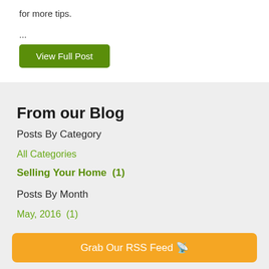for more tips.
...
View Full Post
From our Blog
Posts By Category
All Categories
Selling Your Home  (1)
Posts By Month
May, 2016  (1)
Grab Our RSS Feed